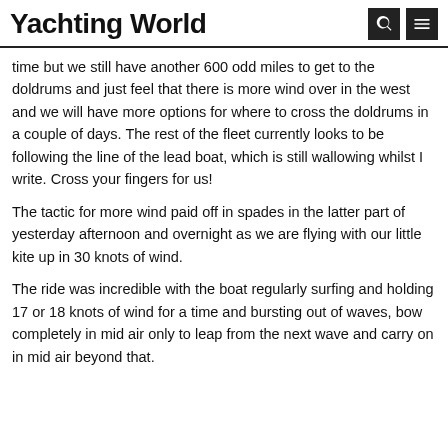Yachting World
time but we still have another 600 odd miles to get to the doldrums and just feel that there is more wind over in the west and we will have more options for where to cross the doldrums in a couple of days.  The rest of the fleet currently looks to be following the line of the lead boat, which is still wallowing whilst I write.  Cross your fingers for us!
The tactic for more wind paid off in spades in the latter part of yesterday afternoon and overnight as we are flying with our little kite up in 30 knots of wind.
The ride was incredible with the boat regularly surfing and holding 17 or 18 knots of wind for a time and bursting out of waves, bow completely in mid air only to leap from the next wave and carry on in mid air beyond that.